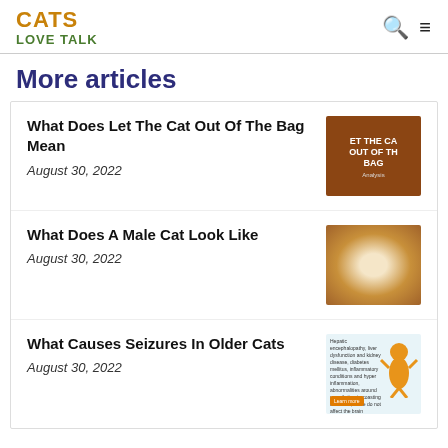CATS LOVE TALK
More articles
What Does Let The Cat Out Of The Bag Mean
August 30, 2022
[Figure (photo): Brown/orange cat image with text overlay reading 'LET THE CAT OUT OF THE BAG' and 'Analysis']
What Does A Male Cat Look Like
August 30, 2022
[Figure (photo): Close-up photo of a fluffy ginger/white cat]
What Causes Seizures In Older Cats
August 30, 2022
[Figure (infographic): Medical infographic about cat seizures with orange cat illustration and text about hepatic encephalopathy]